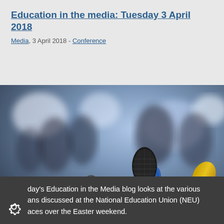Education in the media: Tuesday 3 April 2018
Media, 3 April 2018 - Conference
[Figure (photo): Conference microphones on a table in the foreground with a blurred crowd of people in the background. Three microphones visible: one grey, one with a blue cap, one with a yellow cap.]
day's Education in the Media blog looks at the various ans discussed at the National Education Union (NEU) aces over the Easter weekend.